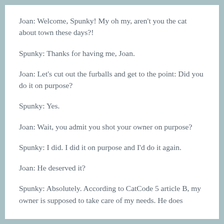Joan: Welcome, Spunky! My oh my, aren't you the cat about town these days?!
Spunky: Thanks for having me, Joan.
Joan: Let's cut out the furballs and get to the point: Did you do it on purpose?
Spunky: Yes.
Joan: Wait, you admit you shot your owner on purpose?
Spunky: I did. I did it on purpose and I'd do it again.
Joan: He deserved it?
Spunky: Absolutely. According to CatCode 5 article B, my owner is supposed to take care of my needs. He does